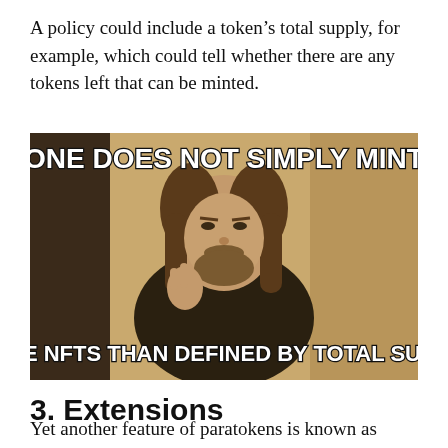A policy could include a token's total supply, for example, which could tell whether there are any tokens left that can be minted.
[Figure (photo): Meme image of a man (Boromir from Lord of the Rings) with text overlaid at top reading 'ONE DOES NOT SIMPLY MINT' and at bottom reading 'MORE NFTS THAN DEFINED BY TOTAL SUPPLY']
3. Extensions
Yet another feature of paratokens is known as